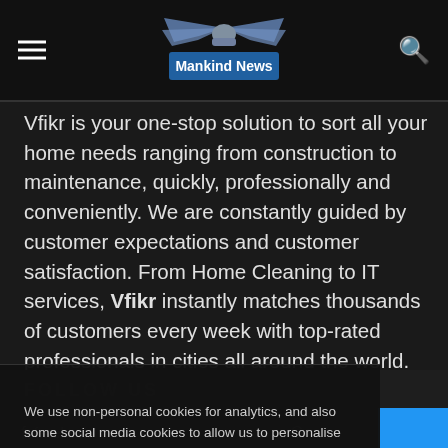Mankind News
Vfikr is your one-stop solution to sort all your home needs ranging from construction to maintenance, quickly, professionally and conveniently. We are constantly guided by customer expectations and customer satisfaction. From Home Cleaning to IT services, Vfikr instantly matches thousands of customers every week with top-rated professionals in cities all around the world.
We use non-personal cookies for analytics, and also some social media cookies to allow us to personalise ads. There are also one or two to take care of security. If you click 'Accept' this will allow us to use Analytics and Marketing cookies. You have full control over which cookies may be set by clicking 'Settings'.